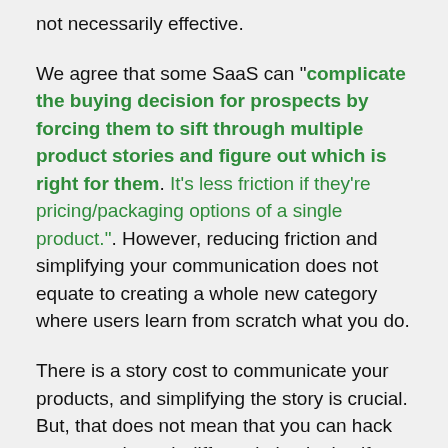not necessarily effective.
We agree that some SaaS can "complicate the buying decision for prospects by forcing them to sift through multiple product stories and figure out which is right for them. It's less friction if they're pricing/packaging options of a single product.". However, reducing friction and simplifying your communication does not equate to creating a whole new category where users learn from scratch what you do.
There is a story cost to communicate your products, and simplifying the story is crucial. But, that does not mean that you can hack your way through differentiation by itself (especially if it is so different people do not even understand it - a new category).